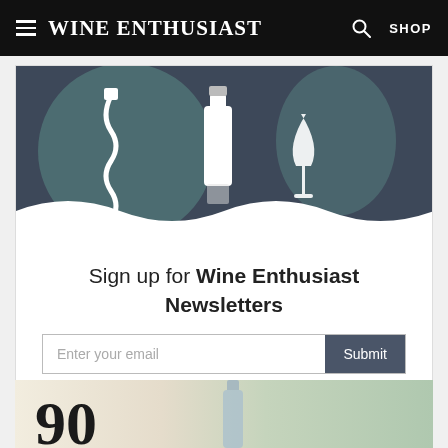Wine Enthusiast — SHOP
[Figure (illustration): Wine Enthusiast newsletter signup illustration with corkscrew, wine bottle, and wine glass icons on dark navy background with teal accents and white wave at bottom]
Sign up for Wine Enthusiast Newsletters
Enter your email  Submit
Welcome to winemag.com! By using our website and/or subscribing to our newsletter, you agree to our use of cookies and the terms of our Privacy Policy
[Figure (photo): Bottom teaser showing large '90' score number and a blurred wine bottle against a soft background]